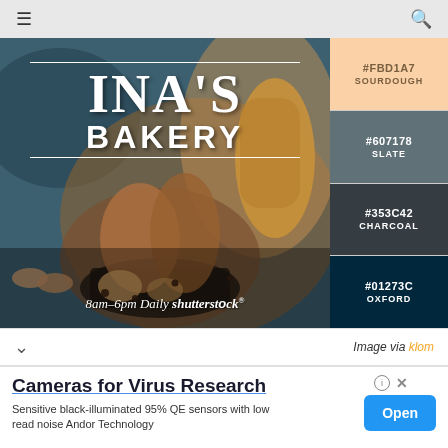☰   🔍
[Figure (photo): INA'S BAKERY branded photo showing artisan breads and pastries in a bowl, with text '8am-6pm Daily' and shutterstock watermark. Color palette swatches on the right: #FBD1A7 SOURDOUGH, #607178 SLATE, #353C42 CHARCOAL, #01273C OXFORD.]
Image via klom
ⓘ ✕
Cameras for Virus Research
Sensitive black-illuminated 95% QE sensors with low read noise Andor Technology
Open